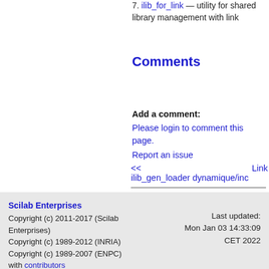7. ilib_for_link — utility for shared library management with link
Comments
Add a comment:
Please login to comment this page.
Report an issue
<< ilib_gen_loader    Link dynamique/inc
Scilab Enterprises
Copyright (c) 2011-2017 (Scilab Enterprises)
Copyright (c) 1989-2012 (INRIA)
Copyright (c) 1989-2007 (ENPC)
with contributors
Last updated: Mon Jan 03 14:33:09 CET 2022